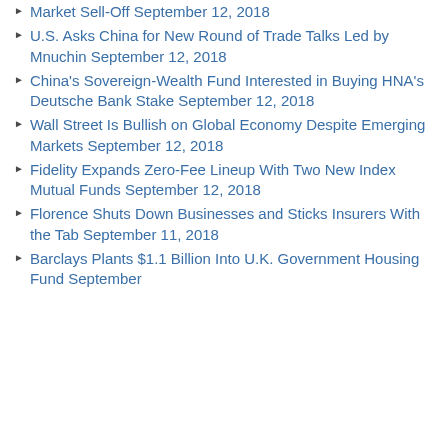Market Sell-Off September 12, 2018
U.S. Asks China for New Round of Trade Talks Led by Mnuchin September 12, 2018
China's Sovereign-Wealth Fund Interested in Buying HNA's Deutsche Bank Stake September 12, 2018
Wall Street Is Bullish on Global Economy Despite Emerging Markets September 12, 2018
Fidelity Expands Zero-Fee Lineup With Two New Index Mutual Funds September 12, 2018
Florence Shuts Down Businesses and Sticks Insurers With the Tab September 11, 2018
Barclays Plants $1.1 Billion Into U.K. Government Housing Fund September